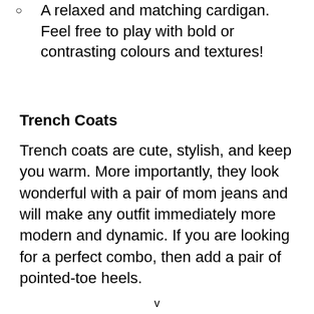A relaxed and matching cardigan. Feel free to play with bold or contrasting colours and textures!
Trench Coats
Trench coats are cute, stylish, and keep you warm. More importantly, they look wonderful with a pair of mom jeans and will make any outfit immediately more modern and dynamic. If you are looking for a perfect combo, then add a pair of pointed-toe heels.
v